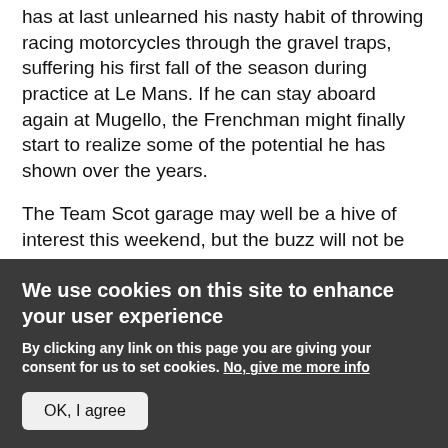has at last unlearned his nasty habit of throwing racing motorcycles through the gravel traps, suffering his first fall of the season during practice at Le Mans. If he can stay aboard again at Mugello, the Frenchman might finally start to realize some of the potential he has shown over the years.
The Team Scot garage may well be a hive of interest this weekend, but the buzz will not be about where Yuki Takahashi might finish on Sunday. Rumors persist that Hungarian 250 rider Gabor Talmacsi, who split with the Aspar team last week, could bring much-needed sponsorship into the team and take Takahashi's spare bike. Dorna would surely look kindly on any such move.
We use cookies on this site to enhance your user experience
By clicking any link on this page you are giving your consent for us to set cookies. No, give me more info
OK, I agree